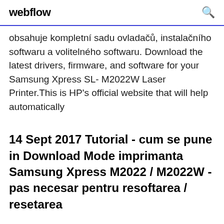webflow
obsahuje kompletní sadu ovladačů, instalačního softwaru a volitelného softwaru. Download the latest drivers, firmware, and software for your Samsung Xpress SL- M2022W Laser Printer.This is HP's official website that will help automatically
14 Sept 2017 Tutorial - cum se pune in Download Mode imprimanta Samsung Xpress M2022 / M2022W - pas necesar pentru resoftarea / resetarea